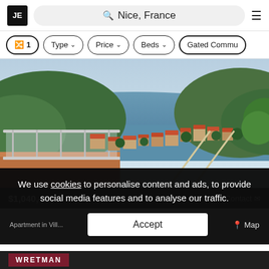[Figure (screenshot): Website header with JE logo shield, search bar showing 'Nice, France', and hamburger menu icon]
[Figure (screenshot): Filter bar with filter buttons: '1' (active), 'Type', 'Price', 'Beds', 'Gated Commu...']
[Figure (photo): Aerial photo from a balcony with glass railing overlooking a French Riviera coastal town with orange-roofed buildings, green hills, and blue sea]
$1,040,493
Contact
We use cookies to personalise content and ads, to provide social media features and to analyse our traffic.
Apartment in Villefranche... Alpes-Côte...
Accept
Map
WRETMAN